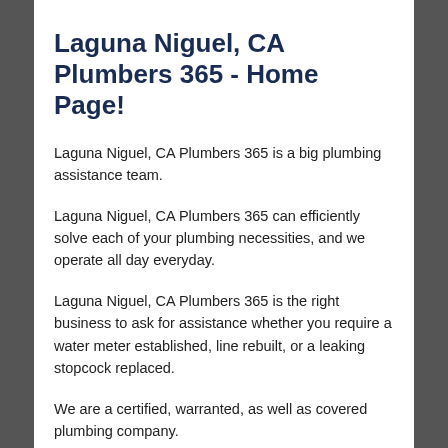Laguna Niguel, CA Plumbers 365 - Home Page!
Laguna Niguel, CA Plumbers 365 is a big plumbing assistance team.
Laguna Niguel, CA Plumbers 365 can efficiently solve each of your plumbing necessities, and we operate all day everyday.
Laguna Niguel, CA Plumbers 365 is the right business to ask for assistance whether you require a water meter established, line rebuilt, or a leaking stopcock replaced.
We are a certified, warranted, as well as covered plumbing company.